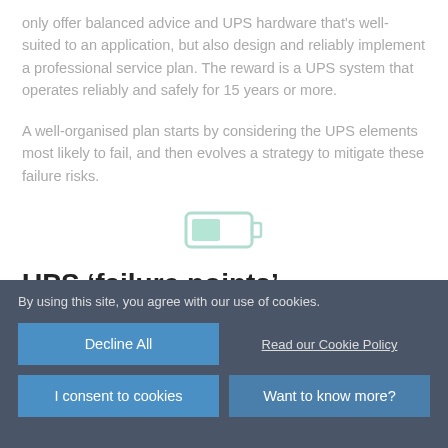only offer balanced advice and UPS hardware that's well-suited to an application, but also design and reliably implement a professional service plan. The reward is a UPS system that operates reliably and safely for 15 years or more.
A well-organised plan starts by considering the UPS elements most likely to fail, and then evolves a strategy to mitigate these failure risks.
[Figure (illustration): Battery icon illustration in light teal/green outline style]
UPS ‘failure points’
Bad batteries cause typically 20% of UPS failures. Manufacturers’
By using this site, you agree with our use of cookies.
Decline All
Read our Cookie Policy
I consent to cookies
Want to know more?